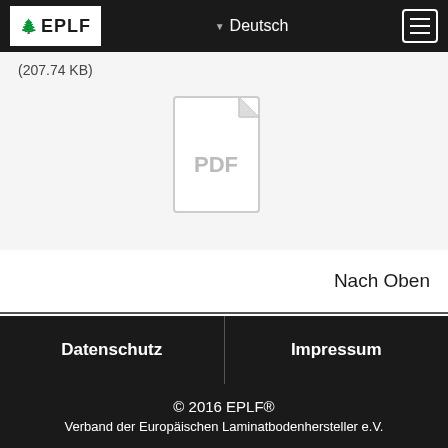EPLF  Deutsch
(207.74 KB)
[Figure (other): PDF file icon — white document shape with folded corner and 'PDF' text in grey]
Nach Oben
Datenschutz
Impressum
© 2016 EPLF®
Verband der Europäischen Laminatbodenhersteller e.V.